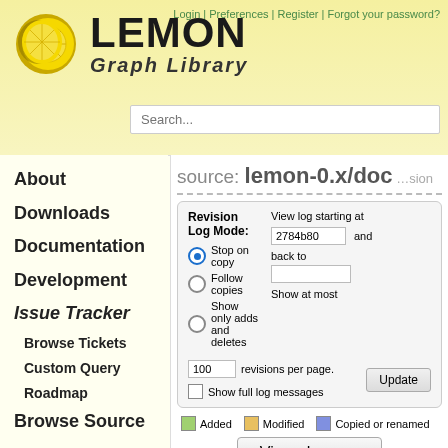LEMON Graph Library — Login | Preferences | Register | Forgot your password?
source: lemon-0.x/doc
Revision Log Mode: Stop on copy, Follow copies, Show only adds and deletes. View log starting at 2784b80 and back to. Show at most. 100 revisions per page. Show full log messages. Update.
Added | Modified | Copied or renamed
View changes
| Diff |  | Rev | Age | A |
| --- | --- | --- | --- | --- |
| ○ ● □ |  | @509:2784b804abb3 ⚙ | 18 years | A |
| ○ ○ □ |  | @508:95f8f7171bae ⚙ | 18 years | A |
| ○ ○ □ |  | @507:dcfb68446843 ⚙ | 18 years | A |
About
Downloads
Documentation
Development
Issue Tracker
Browse Tickets
Custom Query
Roadmap
Browse Source
Local Info
Mailing Lists